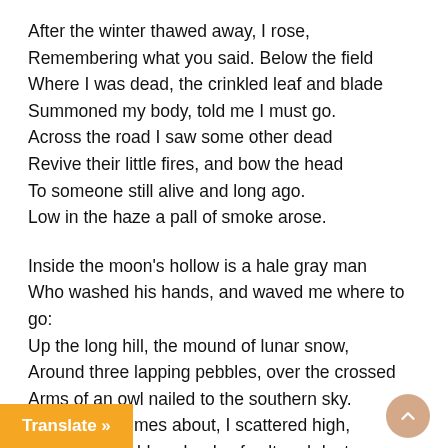After the winter thawed away, I rose,
Remembering what you said. Below the field
Where I was dead, the crinkled leaf and blade
Summoned my body, told me I must go.
Across the road I saw some other dead
Revive their little fires, and bow the head
To someone still alive and long ago.
Low in the haze a pall of smoke arose.
Inside the moon's hollow is a hale gray man
Who washed his hands, and waved me where to go:
Up the long hill, the mound of lunar snow,
Around three lapping pebbles, over the crossed
Arms of an owl nailed to the southern sky.
I spun three times about, I scattered high,
Over my shoulder, clouds of salt and dust.
n to clear. I saw a man.